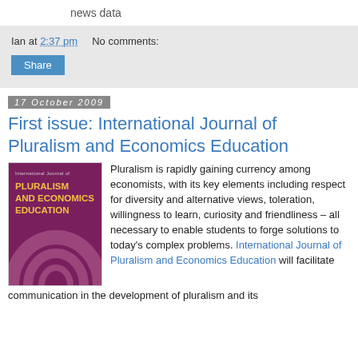news data
Ian at 2:37 pm    No comments:
Share
17 October 2009
First issue: International Journal of Pluralism and Economics Education
[Figure (illustration): Book cover of International Journal of Pluralism and Economics Education — dark maroon/purple background with abstract swirl design, yellow title text]
Pluralism is rapidly gaining currency among economists, with its key elements including respect for diversity and alternative views, toleration, willingness to learn, curiosity and friendliness – all necessary to enable students to forge solutions to today's complex problems. International Journal of Pluralism and Economics Education will facilitate communication in the development of pluralism and its